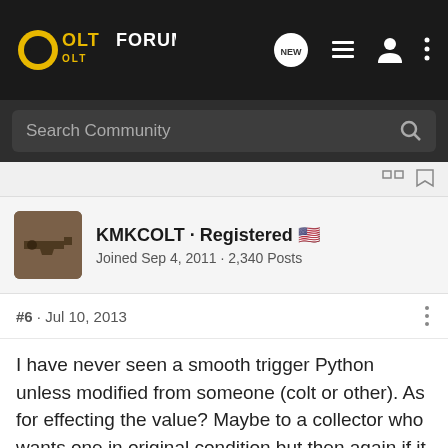ColtForum
Search Community
KMKCOLT · Registered
Joined Sep 4, 2011 · 2,340 Posts
#6 · Jul 10, 2013
I have never seen a smooth trigger Python unless modified from someone (colt or other). As for effecting the value? Maybe to a collector who wants one in original condition but then again if it has been fired the value is not where it would have been if new condition. In my opinion it is worth what it would be in used condition and what a buyer is willing to pay for it also if he or she likes the modification. It's not so bad. I personally like the smooth [...] d.
[Figure (screenshot): Bass Pro Shops ad banner: RELOADING SUPPLIES with SHOP NOW button]